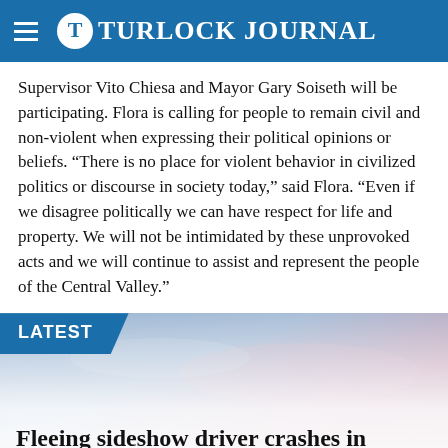Turlock Journal
Supervisor Vito Chiesa and Mayor Gary Soiseth will be participating. Flora is calling for people to remain civil and non-violent when expressing their political opinions or beliefs. “There is no place for violent behavior in civilized politics or discourse in society today,” said Flora. “Even if we disagree politically we can have respect for life and property. We will not be intimidated by these unprovoked acts and we will continue to assist and represent the people of the Central Valley.”
LATEST
[Figure (photo): Sky photo with blue and pink hues, used as background for a news story teaser]
Fleeing sideshow driver crashes in Turlock